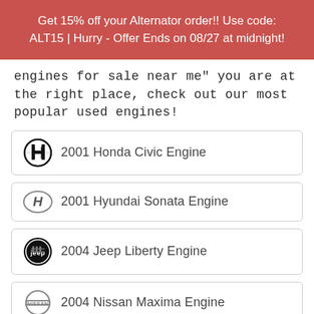Get 15% off your Alternator order!! Use code: ALT15 | Hurry - Offer Ends on 08/27 at midnight!
engines for sale near me" you are at the right place, check out our most popular used engines!
2001 Honda Civic Engine
2001 Hyundai Sonata Engine
2004 Jeep Liberty Engine
2004 Nissan Maxima Engine
2002 Ford Taurus Engine